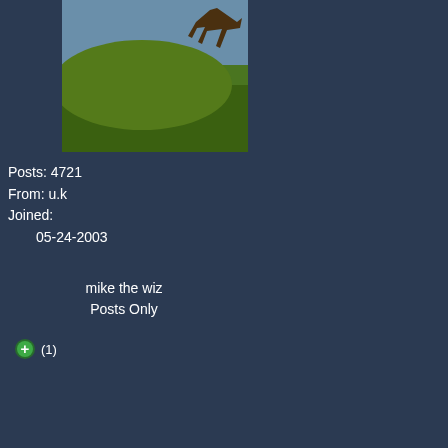[Figure (photo): Avatar image showing a person near a green outdoor scene]
Posts: 4721
From: u.k
Joined:
    05-24-2003
mike the wiz
Posts Only
(1)
whatever it is, or priestophiles or whatever, has nothing to do with me, it is an association-fallacy.
Instead of saying what I have done as a Christian personally, all I will say is that there have been millions of people over the century, genuine Christians, who have given their lives for good work to please God. These actions don't support "bloodshed and misery".
However I will admit that those genuine Christians don't make the news at ten. Do you know why that is? Because quietly going about doing what Christ tells you to do isn't an exciting news-story. Each year just doing your own little thing faithfully is boring to the world.
To the world, one who SHOUTS "we are the Christians" then go on a crusade, yes - I admit they do make the news, however for that small portion that existed against all those that just go about doing what God has